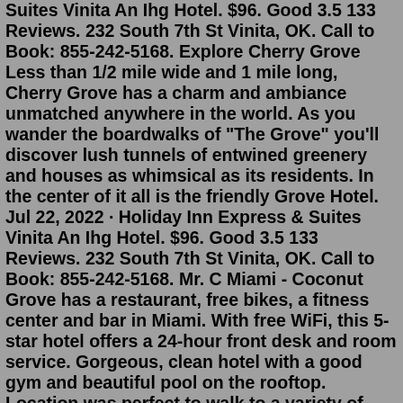Suites Vinita An Ihg Hotel. $96. Good 3.5 133 Reviews. 232 South 7th St Vinita, OK. Call to Book: 855-242-5168. Explore Cherry Grove Less than 1/2 mile wide and 1 mile long, Cherry Grove has a charm and ambiance unmatched anywhere in the world. As you wander the boardwalks of "The Grove" you'll discover lush tunnels of entwined greenery and houses as whimsical as its residents. In the center of it all is the friendly Grove Hotel. Jul 22, 2022 · Holiday Inn Express & Suites Vinita An Ihg Hotel. $96. Good 3.5 133 Reviews. 232 South 7th St Vinita, OK. Call to Book: 855-242-5168. Mr. C Miami - Coconut Grove has a restaurant, free bikes, a fitness center and bar in Miami. With free WiFi, this 5-star hotel offers a 24-hour front desk and room service. Gorgeous, clean hotel with a good gym and beautiful pool on the rooftop. Location was perfect to walk to a variety of boutique shops, Starbucks, restaurants. Explore Cherry Grove Less than 1/2 mile wide and 1 mile long, Cherry Grove has a charm and ambiance unmatched anywhere in the world. As you wander the